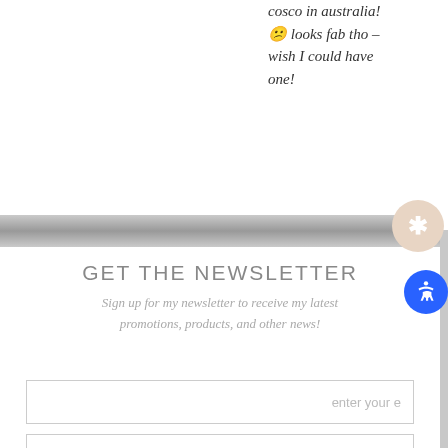cosco in australia! 😕 looks fab tho – wish I could have one!
GET THE NEWSLETTER
Sign up for my newsletter to receive my latest promotions, products, and other news!
enter your e
sign up